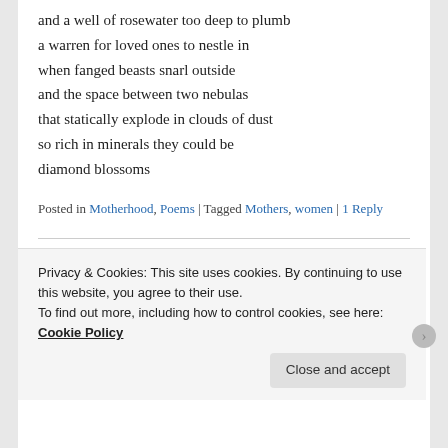and a well of rosewater too deep to plumb
a warren for loved ones to nestle in
when fanged beasts snarl outside
and the space between two nebulas
that statically explode in clouds of dust
so rich in minerals they could be
diamond blossoms
Posted in Motherhood, Poems | Tagged Mothers, women | 1 Reply
Fires of Regret and Relief
Posted on December 11, 2015
Privacy & Cookies: This site uses cookies. By continuing to use this website, you agree to their use.
To find out more, including how to control cookies, see here: Cookie Policy
Close and accept